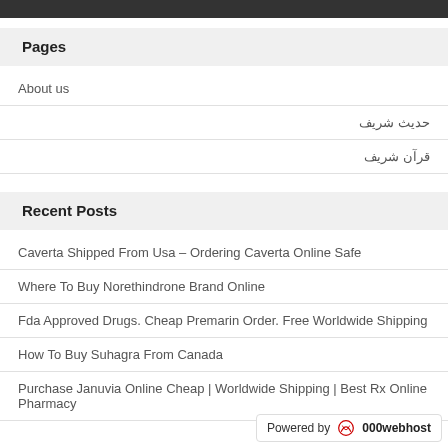Pages
About us
حدیث شریف
قرآن شریف
Recent Posts
Caverta Shipped From Usa – Ordering Caverta Online Safe
Where To Buy Norethindrone Brand Online
Fda Approved Drugs. Cheap Premarin Order. Free Worldwide Shipping
How To Buy Suhagra From Canada
Purchase Januvia Online Cheap | Worldwide Shipping | Best Rx Online Pharmacy
Powered by 000webhost